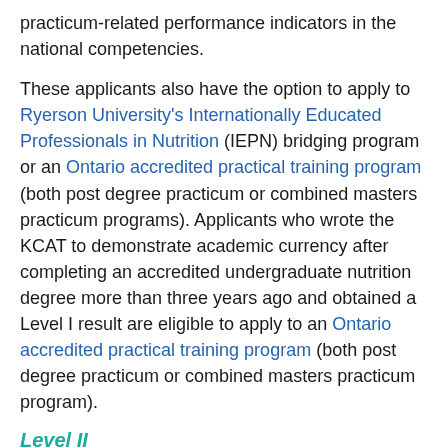practicum-related performance indicators in the national competencies.
These applicants also have the option to apply to Ryerson University's Internationally Educated Professionals in Nutrition (IEPN) bridging program or an Ontario accredited practical training program (both post degree practicum or combined masters practicum programs). Applicants who wrote the KCAT to demonstrate academic currency after completing an accredited undergraduate nutrition degree more than three years ago and obtained a Level I result are eligible to apply to an Ontario accredited practical training program (both post degree practicum or combined masters practicum program).
Level II
Internationally trained and return-to-practice